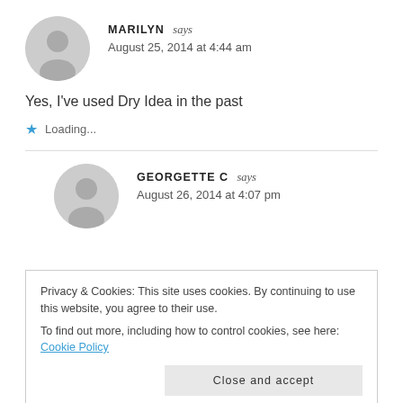MARILYN says
August 25, 2014 at 4:44 am
Yes, I've used Dry Idea in the past
★ Loading...
GEORGETTE C says
August 26, 2014 at 4:07 pm
Privacy & Cookies: This site uses cookies. By continuing to use this website, you agree to their use.
To find out more, including how to control cookies, see here: Cookie Policy
Close and accept
ANGELA SNOOZY says